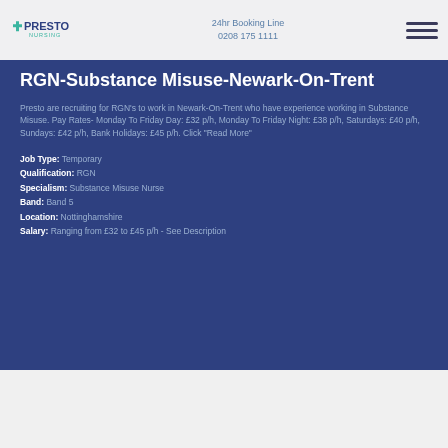Presto Nursing | 24hr Booking Line 0208 175 1111
RGN-Substance Misuse-Newark-On-Trent
Presto are recruiting for RGN's to work in Newark-On-Trent who have experience working in Substance Misuse. Pay Rates- Monday To Friday Day: £32 p/h, Monday To Friday Night: £38 p/h, Saturdays: £40 p/h, Sundays: £42 p/h, Bank Holidays: £45 p/h. Click "Read More"
Job Type: Temporary
Qualification: RGN
Specialism: Substance Misuse Nurse
Band: Band 5
Location: Nottinghamshire
Salary: Ranging from £32 to £45 p/h - See Description